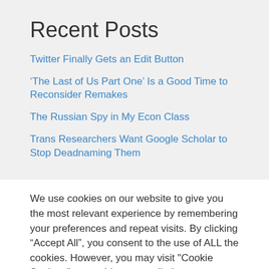Recent Posts
Twitter Finally Gets an Edit Button
‘The Last of Us Part One’ Is a Good Time to Reconsider Remakes
The Russian Spy in My Econ Class
Trans Researchers Want Google Scholar to Stop Deadnaming Them
We use cookies on our website to give you the most relevant experience by remembering your preferences and repeat visits. By clicking “Accept All”, you consent to the use of ALL the cookies. However, you may visit "Cookie Settings" to provide a controlled consent.